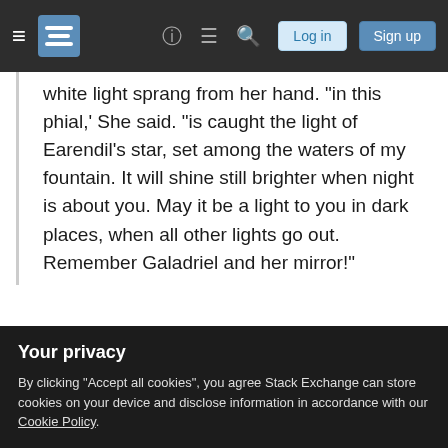Stack Exchange navigation bar with hamburger menu, logo, help, chat, search icons, Log in and Sign up buttons
white light sprang from her hand. "in this phial,' She said. "is caught the light of Earendil's star, set among the waters of my fountain. It will shine still brighter when night is about you. May it be a light to you in dark places, when all other lights go out. Remember Galadriel and her mirror!"
Galadriel doesn't tell them that the light of Earendil's star is the light of the Silmaril that Beren cut from the Iron Crown of Morgoth. Frodo and Sam must
Your privacy
By clicking "Accept all cookies", you agree Stack Exchange can store cookies on your device and disclose information in accordance with our Cookie Policy.
Accept all cookies
Customize settings
mentioning that the light of Earendil was a Silmaril.